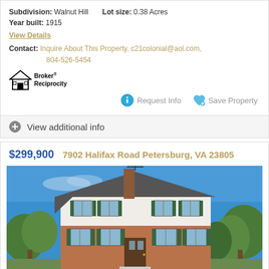Subdivision: Walnut Hill   Lot size: 0.38 Acres
Year built: 1915
View Details
Contact: Inquire About This Property, c21colonial@aol.com, 804-526-5454
[Figure (logo): Broker Reciprocity logo with house icon]
Request Info   Save Property
View additional info
$299,900   7902 Halifax Road Petersburg, VA 23805
[Figure (photo): Exterior photo of a two-story brick colonial house with white siding, green shutters, chimney, and TV antenna, surrounded by trees under a blue sky]